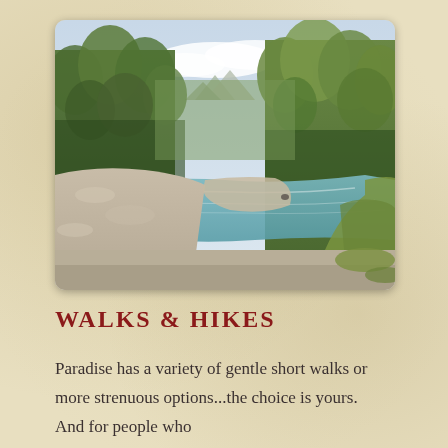[Figure (photo): Scenic river landscape with turquoise water flowing through a wide gravel bed, flanked by lush green trees and forest on both sides, with mountains visible in the background under a partly cloudy sky.]
WALKS & HIKES
Paradise has a variety of gentle short walks or more strenuous options...the choice is yours. And for people who